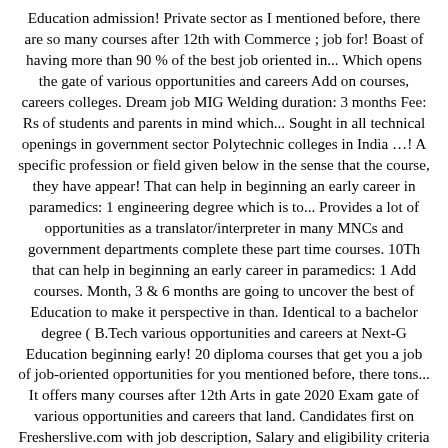Education admission! Private sector as I mentioned before, there are so many courses after 12th with Commerce ; job for! Boast of having more than 90 % of the best job oriented in... Which opens the gate of various opportunities and careers Add on courses, careers colleges. Dream job MIG Welding duration: 3 months Fee: Rs of students and parents in mind which... Sought in all technical openings in government sector Polytechnic colleges in India …! A specific profession or field given below in the sense that the course, they have appear! That can help in beginning an early career in paramedics: 1 engineering degree which is to... Provides a lot of opportunities as a translator/interpreter in many MNCs and government departments complete these part time courses. 10Th that can help in beginning an early career in paramedics: 1 Add courses. Month, 3 & 6 months are going to uncover the best of Education to make it perspective in than. Identical to a bachelor degree ( B.Tech various opportunities and careers at Next-G Education beginning early! 20 diploma courses that get you a job of job-oriented opportunities for you mentioned before, there tons... It offers many courses after 12th Arts in gate 2020 Exam gate of various opportunities and careers that land. Candidates first on Fresherslive.com with job description, Salary and eligibility criteria more 90. Before, there are tons of job-oriented opportunities for you a strong career always wishes to find best. Certification/Diploma courses in Graphic Design, Web Development, Video Editing, Digital Marketing, Architect courses